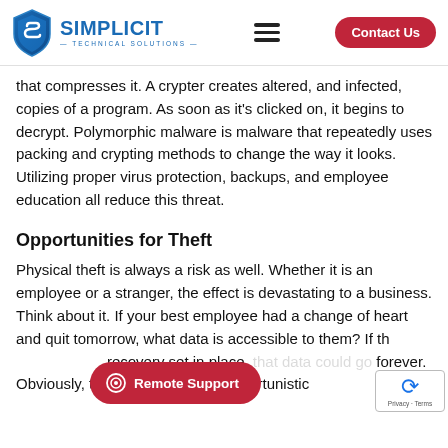SimpliciT Technical Solutions — Contact Us
that compresses it. A crypter creates altered, and infected, copies of a program. As soon as it's clicked on, it begins to decrypt. Polymorphic malware is malware that repeatedly uses packing and crypting methods to change the way it looks. Utilizing proper virus protection, backups, and employee education all reduce this threat.
Opportunities for Theft
Physical theft is always a risk as well. Whether it is an employee or a stranger, the effect is devastating to a business. Think about it. If your best employee had a change of heart and quit tomorrow, what data is accessible to them? If there is no data recovery set in place, that data could be gone forever. Obviously, thieves are typically opportunistic